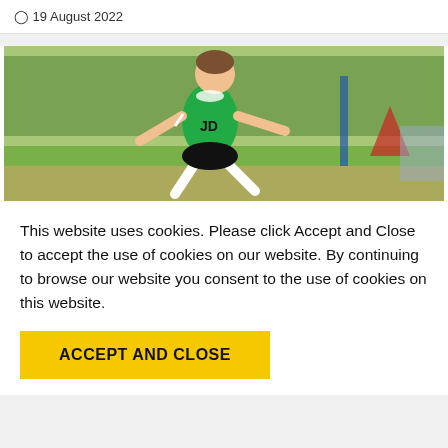19 August 2022
[Figure (photo): Young male soccer player in green Northern Ireland kit mid-kick on a grass pitch]
This website uses cookies. Please click Accept and Close to accept the use of cookies on our website. By continuing to browse our website you consent to the use of cookies on this website.
ACCEPT AND CLOSE